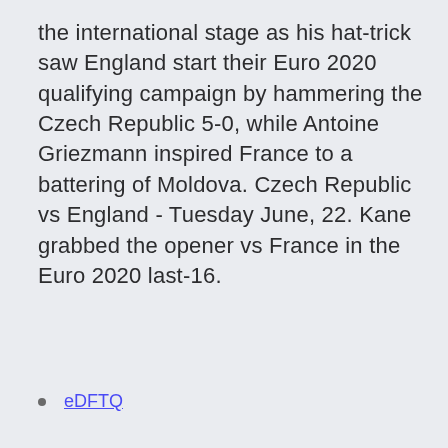the international stage as his hat-trick saw England start their Euro 2020 qualifying campaign by hammering the Czech Republic 5-0, while Antoine Griezmann inspired France to a battering of Moldova. Czech Republic vs England - Tuesday June, 22. Kane grabbed the opener vs France in the Euro 2020 last-16.
eDFTQ